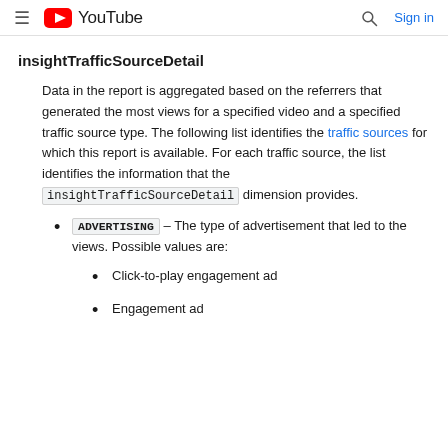≡ YouTube  🔍 Sign in
insightTrafficSourceDetail
Data in the report is aggregated based on the referrers that generated the most views for a specified video and a specified traffic source type. The following list identifies the traffic sources for which this report is available. For each traffic source, the list identifies the information that the insightTrafficSourceDetail dimension provides.
ADVERTISING – The type of advertisement that led to the views. Possible values are:
Click-to-play engagement ad
Engagement ad